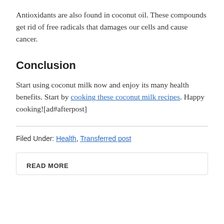Antioxidants are also found in coconut oil. These compounds get rid of free radicals that damages our cells and cause cancer.
Conclusion
Start using coconut milk now and enjoy its many health benefits. Start by cooking these coconut milk recipes. Happy cooking![ad#afterpost]
Filed Under: Health, Transferred post
READ MORE